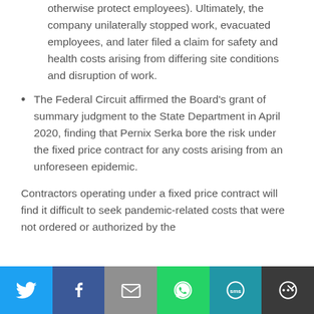otherwise protect employees). Ultimately, the company unilaterally stopped work, evacuated employees, and later filed a claim for safety and health costs arising from differing site conditions and disruption of work.
The Federal Circuit affirmed the Board's grant of summary judgment to the State Department in April 2020, finding that Pernix Serka bore the risk under the fixed price contract for any costs arising from an unforeseen epidemic.
Contractors operating under a fixed price contract will find it difficult to seek pandemic-related costs that were not ordered or authorized by the